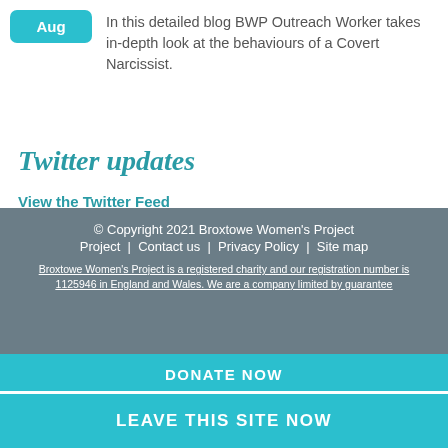Aug — In this detailed blog BWP Outreach Worker takes in-depth look at the behaviours of a Covert Narcissist.
Twitter updates
View the Twitter Feed
© Copyright 2021 Broxtowe Women's Project  Project | Contact us | Privacy Policy | Site map  Broxtowe Women's Project is a registered charity and our registration number is 1125946 in England and Wales. We are a company limited by guarantee
DONATE NOW
LEAVE THIS SITE NOW